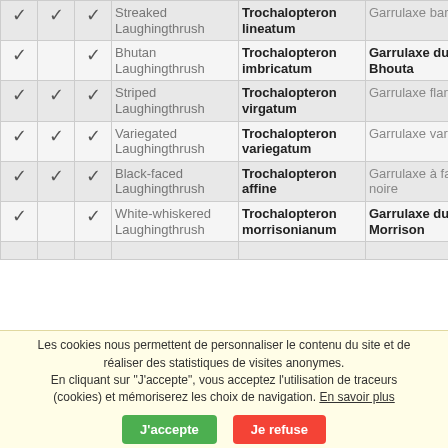|  |  |  | English | Latin | French |
| --- | --- | --- | --- | --- | --- |
| ✓ | ✓ | ✓ | Streaked Laughingthrush | Trochalopteron lineatum | Garrulaxe barré |
| ✓ |  | ✓ | Bhutan Laughingthrush | Trochalopteron imbricatum | Garrulaxe du Bhouta |
| ✓ | ✓ | ✓ | Striped Laughingthrush | Trochalopteron virgatum | Garrulaxe flammé |
| ✓ | ✓ | ✓ | Variegated Laughingthrush | Trochalopteron variegatum | Garrulaxe varié |
| ✓ | ✓ | ✓ | Black-faced Laughingthrush | Trochalopteron affine | Garrulaxe à face noire |
| ✓ |  | ✓ | White-whiskered Laughingthrush | Trochalopteron morrisonianum | Garrulaxe du Morrison |
Les cookies nous permettent de personnaliser le contenu du site et de réaliser des statistiques de visites anonymes.
En cliquant sur "J'accepte", vous acceptez l'utilisation de traceurs (cookies) et mémoriserez les choix de navigation. En savoir plus